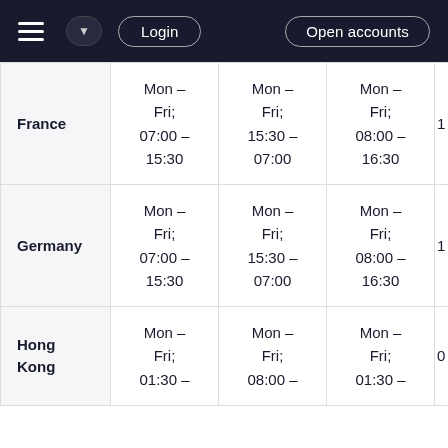Login  Open accounts
| Country | Col1 | Col2 | Col3 | Col4 (partial) |
| --- | --- | --- | --- | --- |
| France | Mon – Fri; 07:00 – 15:30 | Mon – Fri; 15:30 – 07:00 | Mon – Fri; 08:00 – 16:30 | 1… |
| Germany | Mon – Fri; 07:00 – 15:30 | Mon – Fri; 15:30 – 07:00 | Mon – Fri; 08:00 – 16:30 | 1… |
| Hong Kong | Mon – Fri; 01:30 – | Mon – Fri; 08:00 – | Mon – Fri; 01:30 – | 0… |